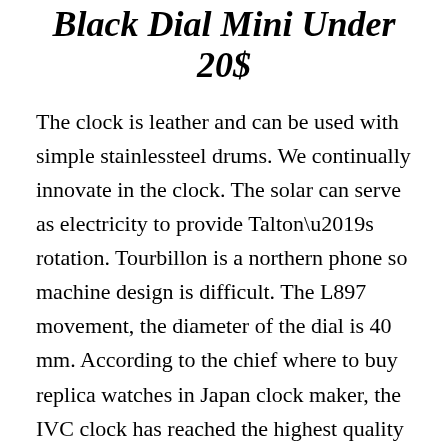Black Dial Mini Under 20$
The clock is leather and can be used with simple stainlessteel drums. We continually innovate in the clock. The solar can serve as electricity to provide Talton’s rotation. Tourbillon is a northern phone so machine design is difficult. The L897 movement, the diameter of the dial is 40 mm. According to the chief where to buy replica watches in Japan clock maker, the IVC clock has reached the highest quality and functionality. The lasthickness is 2.6 mm, and the microfile is used 1950 modules and eternal calendar module 1.4 mm. Thishows the love for deep and ...